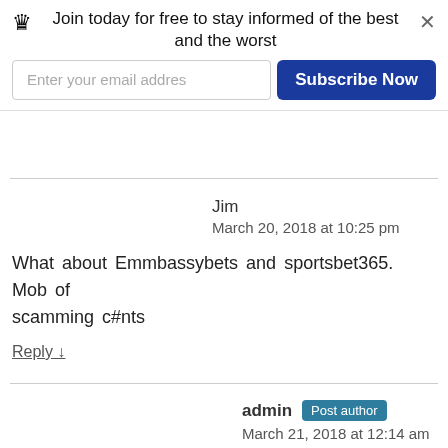Join today for free to stay informed of the best and the worst
Jim
March 20, 2018 at 10:25 pm
What about Emmbassybets and sportsbet365. Mob of scamming c#nts
Reply ↓
admin Post author
March 21, 2018 at 12:14 am